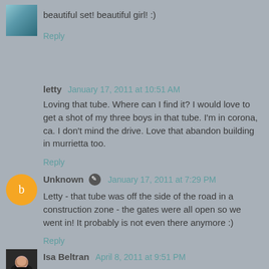beautiful set! beautiful girl! :)
Reply
letty  January 17, 2011 at 10:51 AM
Loving that tube. Where can I find it? I would love to get a shot of my three boys in that tube. I'm in corona, ca. I don't mind the drive. Love that abandon building in murrietta too.
Reply
Unknown  January 17, 2011 at 7:29 PM
Letty - that tube was off the side of the road in a construction zone - the gates were all open so we went in! It probably is not even there anymore :)
Reply
Isa Beltran  April 8, 2011 at 9:51 PM